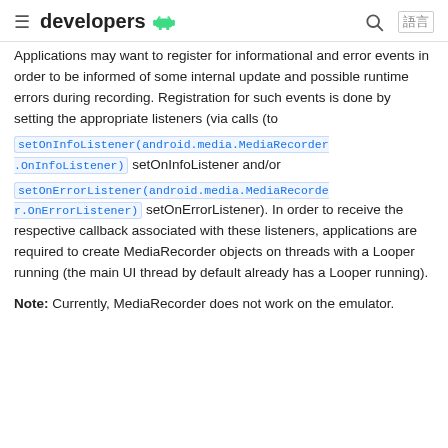developers
Applications may want to register for informational and error events in order to be informed of some internal update and possible runtime errors during recording. Registration for such events is done by setting the appropriate listeners (via calls (to setOnInfoListener(android.media.MediaRecorder.OnInfoListener) setOnInfoListener and/or setOnErrorListener(android.media.MediaRecorder.OnErrorListener) setOnErrorListener). In order to receive the respective callback associated with these listeners, applications are required to create MediaRecorder objects on threads with a Looper running (the main UI thread by default already has a Looper running).
Note: Currently, MediaRecorder does not work on the emulator.